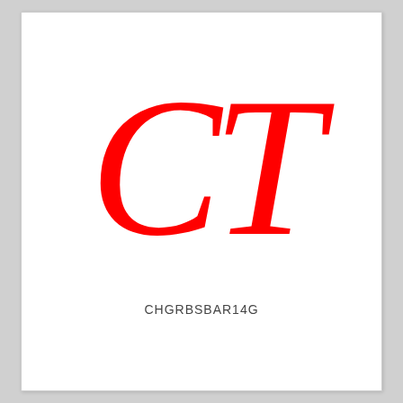[Figure (logo): Large italic red letters 'CT' in Times New Roman serif font]
CHGRBSBAR14G